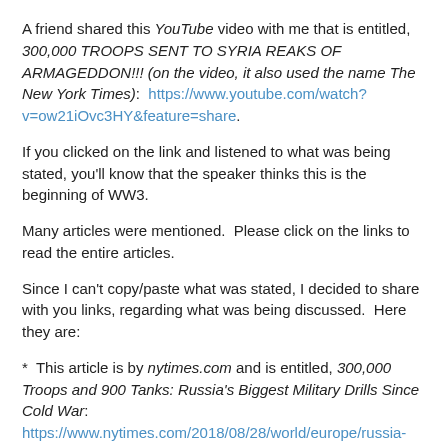A friend shared this YouTube video with me that is entitled, 300,000 TROOPS SENT TO SYRIA REAKS OF ARMAGEDDON!!! (on the video, it also used the name The New York Times):  https://www.youtube.com/watch?v=ow21iOvc3HY&feature=share.
If you clicked on the link and listened to what was being stated, you'll know that the speaker thinks this is the beginning of WW3.
Many articles were mentioned.  Please click on the links to read the entire articles.
Since I can't copy/paste what was stated, I decided to share with you links, regarding what was being discussed.  Here they are:
*  This article is by nytimes.com and is entitled, 300,000 Troops and 900 Tanks: Russia's Biggest Military Drills Since Cold War: https://www.nytimes.com/2018/08/28/world/europe/russia-military-drills.html.